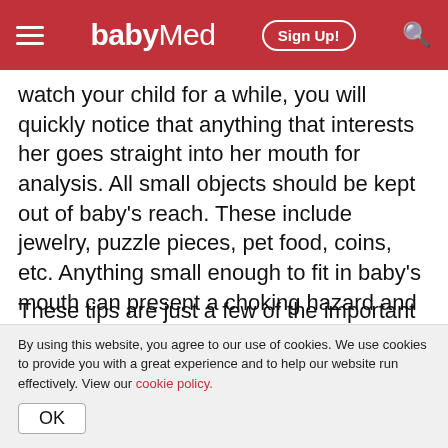babyMed — Sign Up!
watch your child for a while, you will quickly notice that anything that interests her goes straight into her mouth for analysis. All small objects should be kept out of baby's reach. These include jewelry, puzzle pieces, pet food, coins, etc. Anything small enough to fit in baby's mouth can present a choking hazard and should be out of baby's reach.
These tips are just a few of the important steps you need to take to make your home safe for your toddler. The Consumer Product Safety
By using this website, you agree to our use of cookies. We use cookies to provide you with a great experience and to help our website run effectively. View our cookie policy.
OK